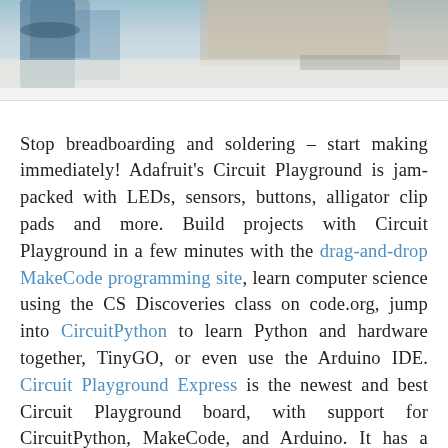[Figure (photo): Photo of a person at a desk, appears to be working with electronics. Blue coiled object visible on the left, person's hands visible on right near a white surface.]
Stop breadboarding and soldering – start making immediately! Adafruit's Circuit Playground is jam-packed with LEDs, sensors, buttons, alligator clip pads and more. Build projects with Circuit Playground in a few minutes with the drag-and-drop MakeCode programming site, learn computer science using the CS Discoveries class on code.org, jump into CircuitPython to learn Python and hardware together, TinyGO, or even use the Arduino IDE. Circuit Playground Express is the newest and best Circuit Playground board, with support for CircuitPython, MakeCode, and Arduino. It has a powerful processor, 10 NeoPixels, mini speaker, InfraRed receive and transmit, two buttons, a switch, 14 alligator clip pads, and lots of sensors: capacitive touch, IR proximity, temperature, light, motion and sound. A whole wide world of electronics and coding